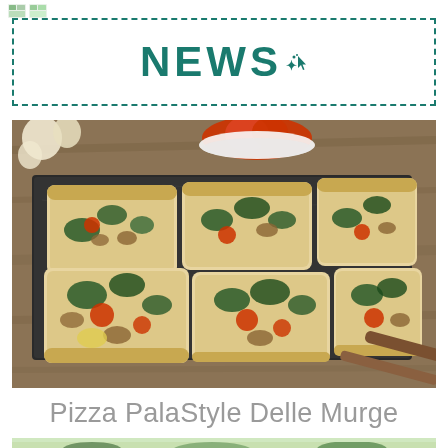NEWS
[Figure (photo): Slices of flatbread pizza with vegetables (broccoli, cherry tomatoes, mushrooms) on a dark slate board on a wooden surface, with garlic and a bowl of tomatoes in the background]
Pizza PalaStyle Delle Murge
[Figure (photo): Partial view of Italian ingredients including herbs and olives at the bottom of the page]